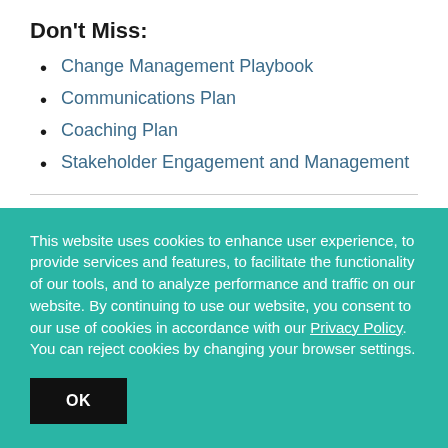Don't Miss:
Change Management Playbook
Communications Plan
Coaching Plan
Stakeholder Engagement and Management
What You Need to Know about the
This website uses cookies to enhance user experience, to provide services and features, to facilitate the functionality of our tools, and to analyze performance and traffic on our website. By continuing to use our website, you consent to our use of cookies in accordance with our Privacy Policy. You can reject cookies by changing your browser settings.